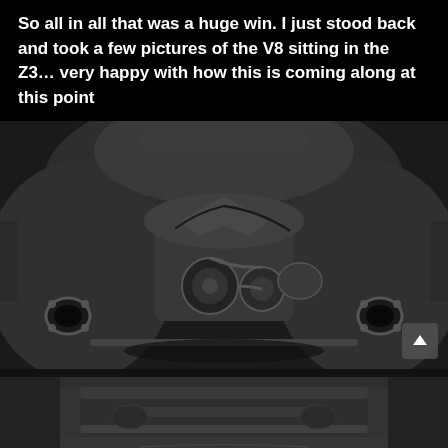So all in all that was a huge win. I just stood back and took a few pictures of the V8 sitting in the Z3… very happy with how this is coming along at this point
[Figure (photo): Top-down view of a V8 engine installed in a BMW Z3 engine bay, showing the engine block, intake manifold, belts, pulleys, and exhaust pipes on either side. A scroll-up arrow button is visible in the bottom-right corner of the photo.]
[Figure (photo): Underside or partial view of a car chassis/engine bay from below, showing dark metal components and framing.]